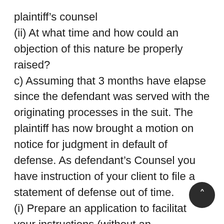plaintiff’s counsel
(ii) At what time and how could an objection of this nature be properly raised?
c) Assuming that 3 months have elapse since the defendant was served with the originating processes in the suit. The plaintiff has now brought a motion on notice for judgment in default of defense. As defendant’s Counsel you have instruction of your client to file a statement of defense out of time.
(i) Prepare an application to facilitate your instructions (without an